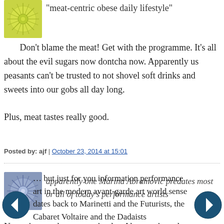[Figure (illustration): Lime green starburst/mandala avatar icon]
"meat-centric obese daily lifestyle"
Don't blame the meat! Get with the programme. It's all about the evil sugars now dontcha now. Apparently us peasants can't be trusted to not shovel soft drinks and sweets into our gobs all day long.

Plus, meat tastes really good.
Posted by: ajf | October 23, 2014 at 15:01
[Figure (illustration): Blue/grey starburst/mandala avatar icon]
apparently one Marina Abramovic predates most or all of today's performance artists
Not quite sure how we arrived at Abramovic and performance art …
… but just for you information performance art in the modern avant-garde art world sense dates back to Marinetti and the Futurists, the Cabaret Voltaire and the Dadaists